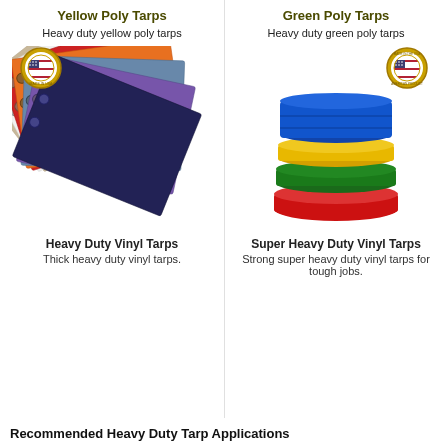Yellow Poly Tarps
Heavy duty yellow poly tarps
[Figure (photo): Fan of colorful poly tarps with grommets, including blue, purple, orange, red, white, tan colors, with a Made in USA badge]
Heavy Duty Vinyl Tarps
Thick heavy duty vinyl tarps.
Green Poly Tarps
Heavy duty green poly tarps
[Figure (photo): Stack of folded vinyl tarps in blue, yellow, green, and red colors, with a Made in the USA American Product badge]
Super Heavy Duty Vinyl Tarps
Strong super heavy duty vinyl tarps for tough jobs.
Recommended Heavy Duty Tarp Applications